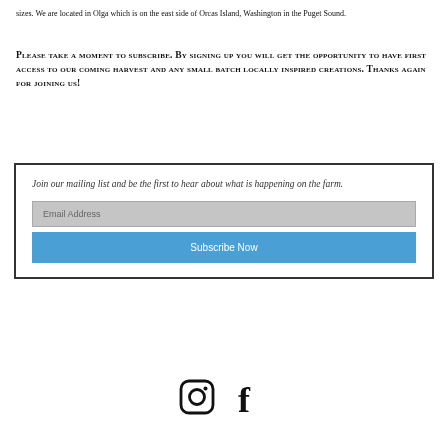sizes. We are located in Olga which is on the east side of Orcas Island, Washington in the Puget Sound.
Please take a moment to subscribe. By signing up you will get the opportunity to have first access to our coming harvest and any small batch locally inspired creations. Thanks again for joining us!
Join our mailing list and be the first to hear about what is happening on the farm.
[Figure (infographic): Email subscription form with an Email Address input field (grey background) and a blue Subscribe Now button]
[Figure (other): Social media icons: Instagram and Facebook logos in black]